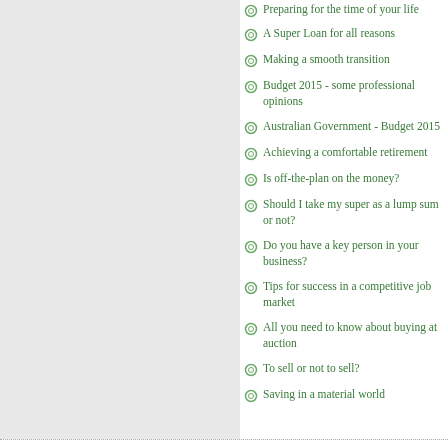Preparing for the time of your life
A Super Loan for all reasons
Making a smooth transition
Budget 2015 - some professional opinions
Australian Government - Budget 2015
Achieving a comfortable retirement
Is off-the-plan on the money?
Should I take my super as a lump sum or not?
Do you have a key person in your business?
Tips for success in a competitive job market
All you need to know about buying at auction
To sell or not to sell?
Saving in a material world